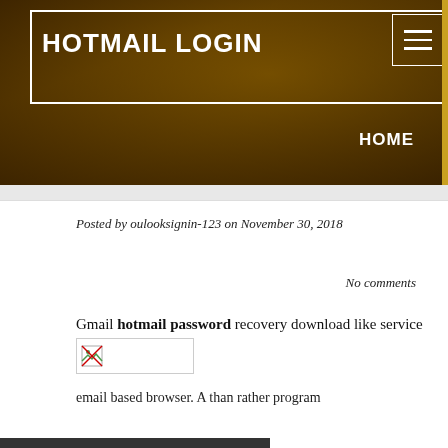HOTMAIL LOGIN
HOME
Posted by oulooksignin-123 on November 30, 2018
No comments
Gmail hotmail password recovery download like service
[Figure (photo): Small thumbnail image placeholder with broken image icon]
email based browser. A than rather program